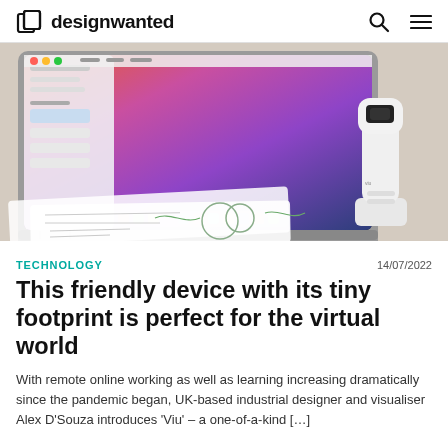designwanted
[Figure (photo): A MacBook Pro laptop with colorful macOS Big Sur wallpaper on a desk, alongside a small white handheld device (Viu) standing upright, and sketch papers with diagrams in the foreground]
TECHNOLOGY    14/07/2022
This friendly device with its tiny footprint is perfect for the virtual world
With remote online working as well as learning increasing dramatically since the pandemic began, UK-based industrial designer and visualiser Alex D'Souza introduces 'Viu' – a one-of-a-kind […]